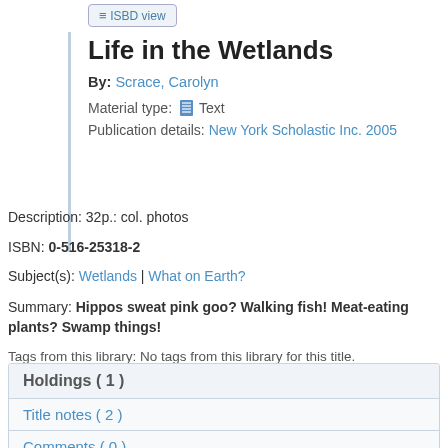[Figure (screenshot): ISBD view button in a library catalog interface]
Life in the Wetlands
By: Scrace, Carolyn
Material type: Text
Publication details: New York Scholastic Inc. 2005
Description: 32p.: col. photos
ISBN: 0-516-25318-2
Subject(s): Wetlands | What on Earth?
Summary: Hippos sweat pink goo? Walking fish! Meat-eating plants? Swamp things!
Tags from this library: No tags from this library for this title. Log in to add tags.
| Holdings ( 1 ) |
| --- |
| Title notes ( 2 ) |
| Comments ( 0 ) |